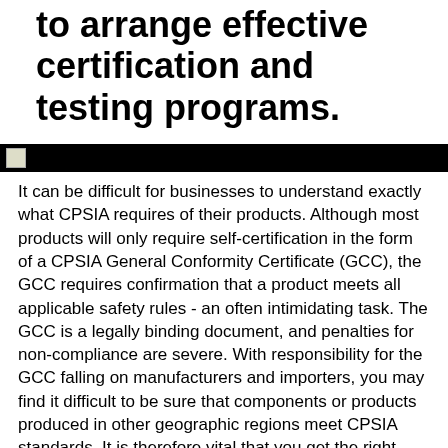to arrange effective certification and testing programs.
[Figure (other): Black horizontal banner bar with a small broken image icon on the left]
It can be difficult for businesses to understand exactly what CPSIA requires of their products. Although most products will only require self-certification in the form of a CPSIA General Conformity Certificate (GCC), the GCC requires confirmation that a product meets all applicable safety rules - an often intimidating task. The GCC is a legally binding document, and penalties for non-compliance are severe. With responsibility for the GCC falling on manufacturers and importers, you may find it difficult to be sure that components or products produced in other geographic regions meet CPSIA standards. It is therefore vital that you get the right help and advice about what exactly is right for your products.
Facilitating your CPSIA...